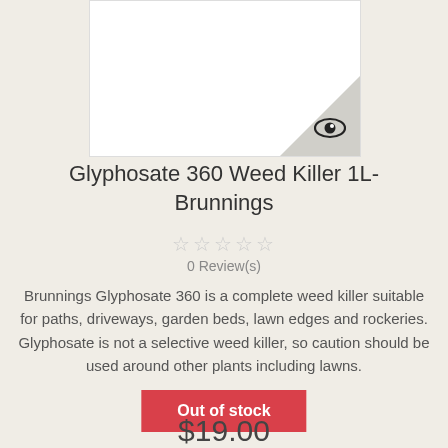[Figure (photo): Product image placeholder for Glyphosate 360 Weed Killer 1L- Brunnings, white background with grey corner triangle and eye icon]
Glyphosate 360 Weed Killer 1L- Brunnings
0 Review(s)
Brunnings Glyphosate 360 is a complete weed killer suitable for paths, driveways, garden beds, lawn edges and rockeries. Glyphosate is not a selective weed killer, so caution should be used around other plants including lawns.
Out of stock
$19.00